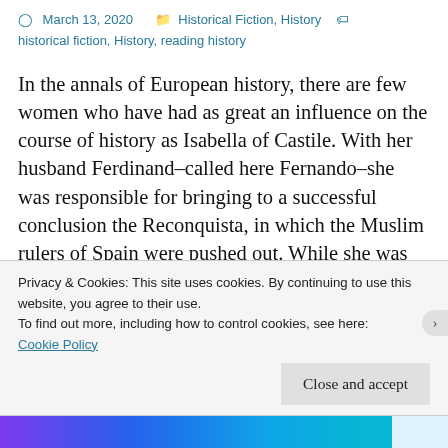March 13, 2020   Historical Fiction, History   historical fiction, History, reading history
In the annals of European history, there are few women who have had as great an influence on the course of history as Isabella of Castile. With her husband Ferdinand–called here Fernando–she was responsible for bringing to a successful conclusion the Reconquista, in which the Muslim rulers of Spain were pushed out. While she was certainly one of the more enlightened monarchs of her era, Isabella was also subject to bouts of religious-influenced intolerance.
Privacy & Cookies: This site uses cookies. By continuing to use this website, you agree to their use.
To find out more, including how to control cookies, see here: Cookie Policy
Close and accept